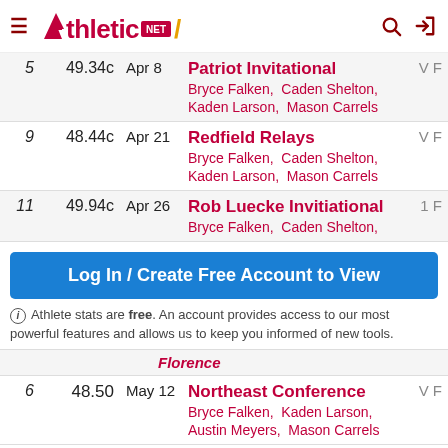AthleticNET
| Rank | Time | Date | Meet | Level | Round |
| --- | --- | --- | --- | --- | --- |
| 5 | 49.34c | Apr 8 | Patriot Invitational | V | F | Bryce Falken, Caden Shelton, Kaden Larson, Mason Carrels |
| 9 | 48.44c | Apr 21 | Redfield Relays | V | F | Bryce Falken, Caden Shelton, Kaden Larson, Mason Carrels |
| 11 | 49.94c | Apr 26 | Rob Luecke Invitiational | 1 | F | Bryce Falken, Caden Shelton, |
Log In / Create Free Account to View
Athlete stats are free. An account provides access to our most powerful features and allows us to keep you informed of new tools.
| Rank | Time | Date | Meet | Level | Round |
| --- | --- | --- | --- | --- | --- |
| 6 | 48.50 | May 12 | Northeast Conference | V | F | Bryce Falken, Kaden Larson, Austin Meyers, Mason Carrels |
4x200 Relay